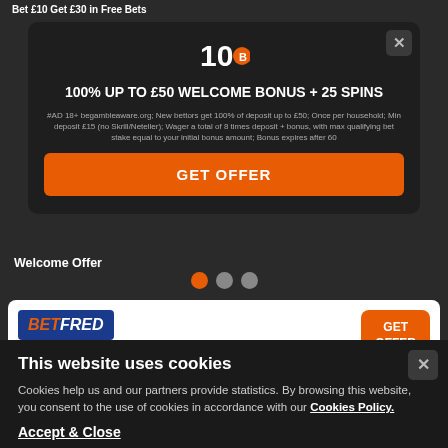Bet £10 Get £30 in Free Bets
[Figure (screenshot): 10Bet logo with orange circle dot]
100% UP TO £50 WELCOME BONUS + 25 SPINS
#AD 18+ begambleaware.org; New bettors get 100% of deposit up to £50; Once per household; Min deposit £15 (no Skrill/Neteller); Wager a total of 8 times deposit + bonus, with max qualifying bet stake equal to your initial bonus amount; Bonus expires after 60
GET OFFER
Welcome Offer
[Figure (logo): BETFRED logo in blue rectangle with red BETFRED text]
GET OFFER
Bet £10 Get £60 in Bonuses
This website uses cookies
Cookies help us and our partners provide statistics. By browsing this website, you consent to the use of cookies in accordance with our Cookies Policy.
Accept & Close